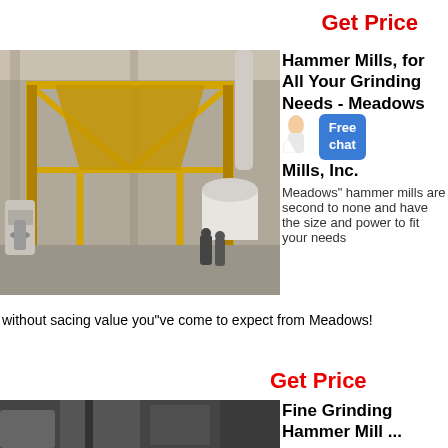Get Price
[Figure (photo): Industrial hammer mill / grinding equipment in a large factory building with yellow steel frame structure and white cylindrical machinery]
Hammer Mills, for All Your Grinding Needs - Meadows Mills, Inc.
Meadows" hammer mills are second to none and have the size and power to fit your needs without sacing value you"ve come to expect from Meadows!
Get Price
[Figure (photo): Fine grinding hammer mill industrial equipment photo]
Fine Grinding Hammer Mill ...